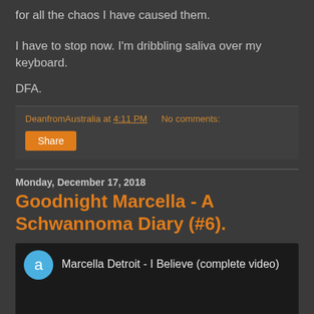for all the chaos I have caused them.
I have to stop now. I'm dribbling saliva over my keyboard.
DFA.
DeanfromAustralia at 4:11 PM   No comments:
Share
Monday, December 17, 2018
Goodnight Marcella - A Schwannoma Diary (#6).
[Figure (screenshot): YouTube video thumbnail showing 'Marcella Detroit - I Believe (complete video)' with a blue avatar circle with letter 'a', and a dark concert crowd image below]